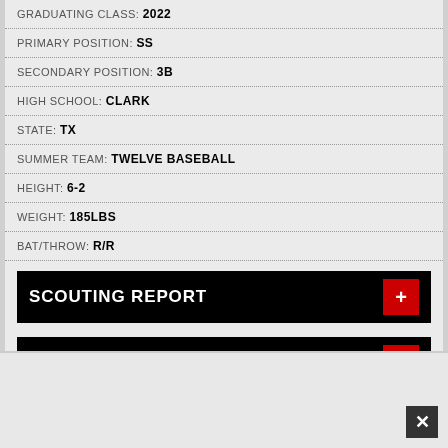GRADUATING CLASS: 2022
PRIMARY POSITION: SS
SECONDARY POSITION: 3B
HIGH SCHOOL: CLARK
STATE: TX
SUMMER TEAM: TWELVE BASEBALL
HEIGHT: 6-2
WEIGHT: 185LBS
BAT/THROW: R/R
SCOUTING REPORT
VIDEOS